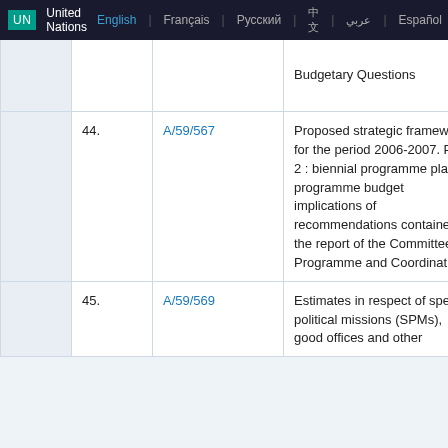UN United Nations English | Français | Русский | 中文 | عربي | Español
|  | Item | Document | Title | Related Documents |
| --- | --- | --- | --- | --- |
|  |  |  | Budgetary Questions |  |
|  | 44. | A/59/567 | Proposed strategic framework for the period 2006-2007. Part 2 : biennial programme plan : programme budget implications of recommendations contained in the report of the Committee for Programme and Coordination | A/C. ... A/59... |
|  | 45. | A/59/569 | Estimates in respect of special political missions (SPMs), good offices and other | A/59... |